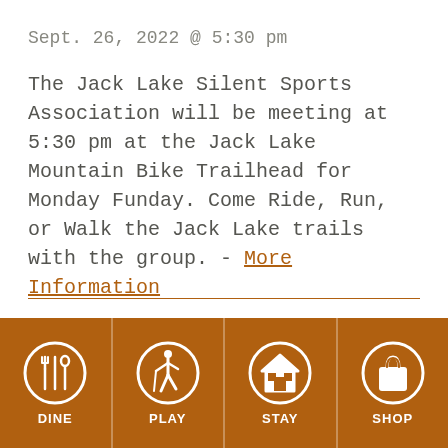Sept. 26, 2022 @ 5:30 pm
The Jack Lake Silent Sports Association will be meeting at 5:30 pm at the Jack Lake Mountain Bike Trailhead for Monday Funday. Come Ride, Run, or Walk the Jack Lake trails with the group. - More Information
DINE  PLAY  STAY  SHOP